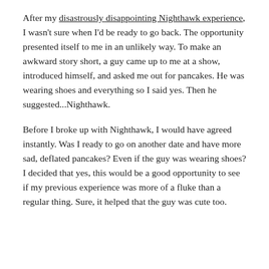After my disastrously disappointing Nighthawk experience, I wasn't sure when I'd be ready to go back. The opportunity presented itself to me in an unlikely way. To make an awkward story short, a guy came up to me at a show, introduced himself, and asked me out for pancakes. He was wearing shoes and everything so I said yes. Then he suggested...Nighthawk.
Before I broke up with Nighthawk, I would have agreed instantly. Was I ready to go on another date and have more sad, deflated pancakes? Even if the guy was wearing shoes? I decided that yes, this would be a good opportunity to see if my previous experience was more of a fluke than a regular thing. Sure, it helped that the guy was cute too.